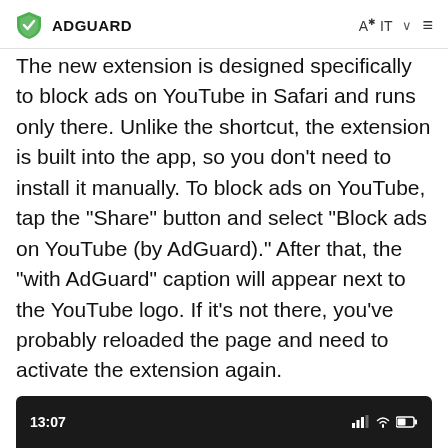ADGUARD
The new extension is designed specifically to block ads on YouTube in Safari and runs only there. Unlike the shortcut, the extension is built into the app, so you don't need to install it manually. To block ads on YouTube, tap the “Share” button and select “Block ads on YouTube (by AdGuard).” After that, the “with AdGuard” caption will appear next to the YouTube logo. If it’s not there, you’ve probably reloaded the page and need to activate the extension again.
[Figure (screenshot): Mobile screenshot showing status bar with time 13:07 and signal/battery icons on dark background]